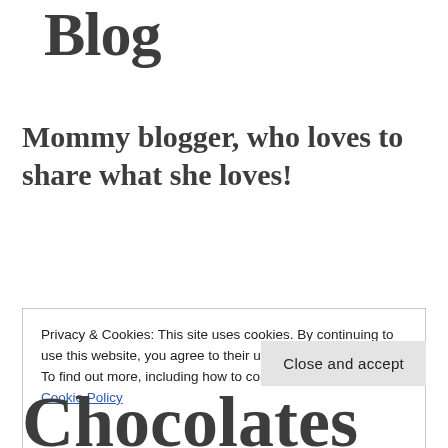Blog
Mommy blogger, who loves to share what she loves!
Privacy & Cookies: This site uses cookies. By continuing to use this website, you agree to their use.
To find out more, including how to control cookies, see here: Cookie Policy
Close and accept
Chocolates